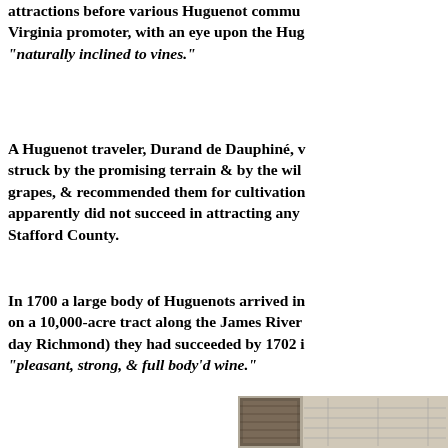attractions before various Huguenot communities. A Virginia promoter, with an eye upon the Huguenots, described the land as "naturally inclined to vines."
A Huguenot traveler, Durand de Dauphiné, was struck by the promising terrain & by the wild grapes, & recommended them for cultivation. He apparently did not succeed in attracting any to Stafford County.
In 1700 a large body of Huguenots arrived in on a 10,000-acre tract along the James River day Richmond) they had succeeded by 1702 in "pleasant, strong, & full body'd wine."
[Figure (photo): Partial image of what appears to be a historical book or document page, visible at the bottom right corner of the page.]